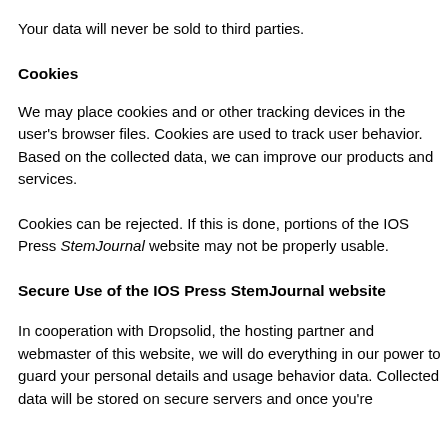Your data will never be sold to third parties.
Cookies
We may place cookies and or other tracking devices in the user's browser files. Cookies are used to track user behavior. Based on the collected data, we can improve our products and services.
Cookies can be rejected. If this is done, portions of the IOS Press StemJournal website may not be properly usable.
Secure Use of the IOS Press StemJournal website
In cooperation with Dropsolid, the hosting partner and webmaster of this website, we will do everything in our power to guard your personal details and usage behavior data. Collected data will be stored on secure servers and once you're